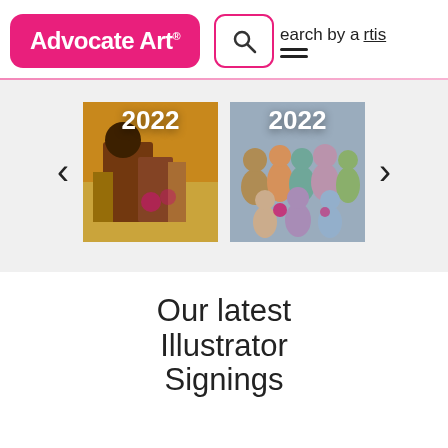[Figure (logo): Advocate Art logo — pink rounded rectangle with white bold text 'Advocate Art' and registered trademark symbol]
[Figure (screenshot): Search icon with 'Search by artist' text and hamburger menu icon]
[Figure (screenshot): Carousel section with two illustrated book cover thumbnails showing '2022' overlay text, with left and right navigation arrows]
Our latest Illustrator Signings